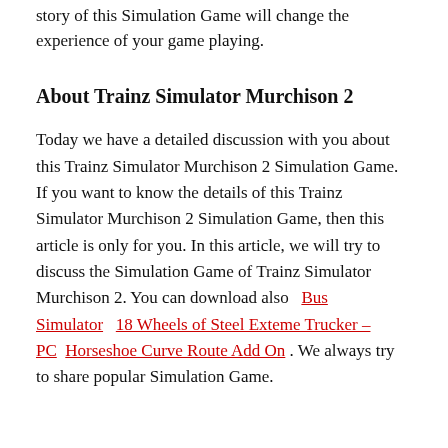story of this Simulation Game will change the experience of your game playing.
About Trainz Simulator Murchison 2
Today we have a detailed discussion with you about this Trainz Simulator Murchison 2 Simulation Game. If you want to know the details of this Trainz Simulator Murchison 2 Simulation Game, then this article is only for you. In this article, we will try to discuss the Simulation Game of Trainz Simulator Murchison 2. You can download also Bus Simulator 18 Wheels of Steel Exteme Trucker – PC Horseshoe Curve Route Add On . We always try to share popular Simulation Game.